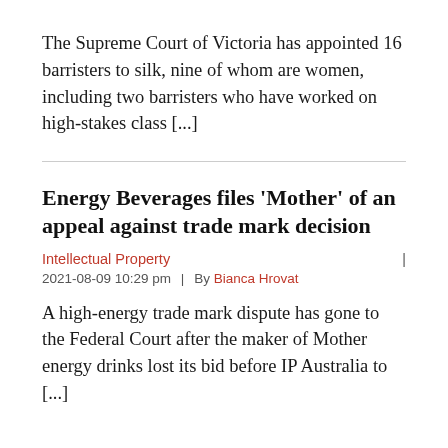The Supreme Court of Victoria has appointed 16 barristers to silk, nine of whom are women, including two barristers who have worked on high-stakes class [...]
Energy Beverages files 'Mother' of an appeal against trade mark decision
Intellectual Property | 2021-08-09 10:29 pm | By Bianca Hrovat
A high-energy trade mark dispute has gone to the Federal Court after the maker of Mother energy drinks lost its bid before IP Australia to [...]